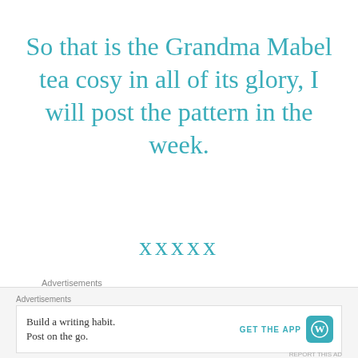So that is the Grandma Mabel tea cosy in all of its glory, I will post the pattern in the week.
xxxxx
Advertisements
[Figure (logo): Automattic logo with stylized letter O containing a red dot]
Advertisements
Build a writing habit. Post on the go. GET THE APP